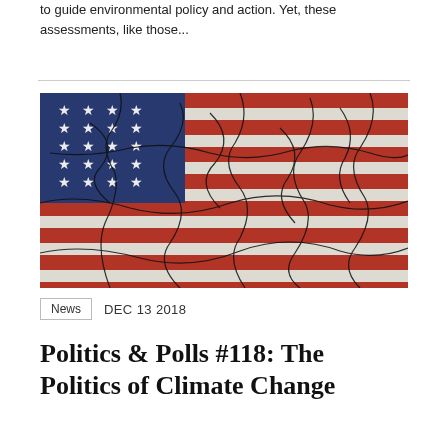to guide environmental policy and action. Yet, these assessments, like those...
[Figure (photo): A cracked, weathered American flag with visible fractures across the red, white, and blue sections, symbolizing climate or political stress.]
News   DEC 13 2018
Politics & Polls #118: The Politics of Climate Change